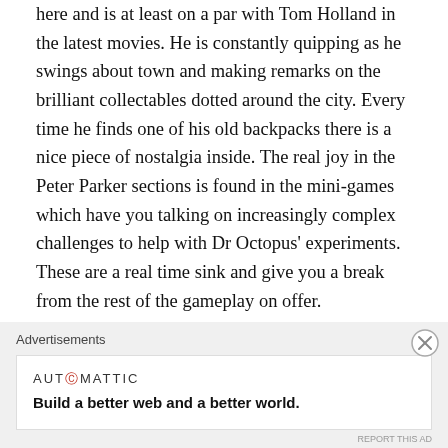here and is at least on a par with Tom Holland in the latest movies. He is constantly quipping as he swings about town and making remarks on the brilliant collectables dotted around the city. Every time he finds one of his old backpacks there is a nice piece of nostalgia inside. The real joy in the Peter Parker sections is found in the mini-games which have you talking on increasingly complex challenges to help with Dr Octopus' experiments. These are a real time sink and give you a break from the rest of the gameplay on offer.
The Story
Advertisements
[Figure (other): Advertisement banner: AUT0MATTIC logo with tagline 'Build a better web and a better world.']